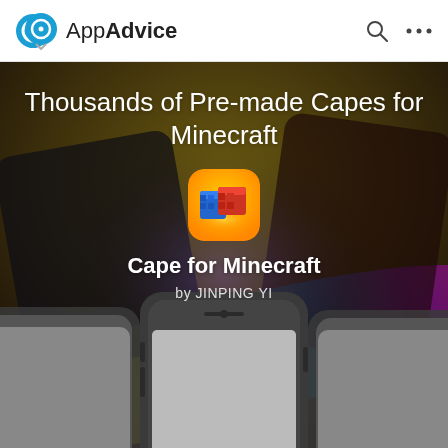AppAdvice
Thousands of Pre-made Capes for Minecraft
[Figure (screenshot): App icon for Cape for Minecraft — orange rounded square with blue and red Minecraft-style blocks]
Cape for Minecraft
by JINPING YI
[Figure (screenshot): Three iPhone device mockups showing the Cape for Minecraft app interface, partially cut off at bottom]